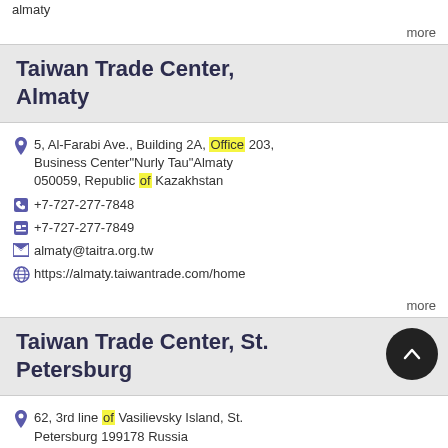almaty
more
Taiwan Trade Center, Almaty
5, Al-Farabi Ave., Building 2A, Office 203, Business Center“Nurly Tau”Almaty 050059, Republic of Kazakhstan
+7-727-277-7848
+7-727-277-7849
almaty@taitra.org.tw
https://almaty.taiwantrade.com/home
more
Taiwan Trade Center, St. Petersburg
62, 3rd line of Vasilievsky Island, St. Petersburg 199178 Russia